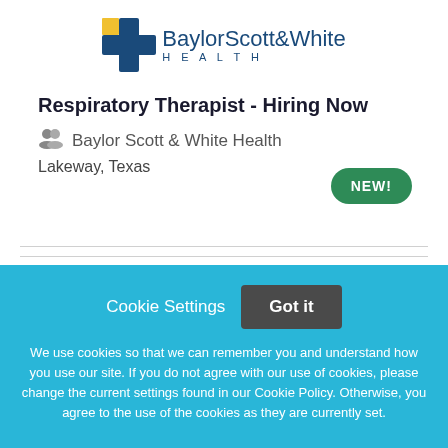[Figure (logo): Baylor Scott & White Health logo with blue and yellow cross icon]
Respiratory Therapist - Hiring Now
Baylor Scott & White Health
Lakeway, Texas
NEW!
Cookie Settings
Got it
We use cookies so that we can remember you and understand how you use our site. If you do not agree with our use of cookies, please change the current settings found in our Cookie Policy. Otherwise, you agree to the use of the cookies as they are currently set.